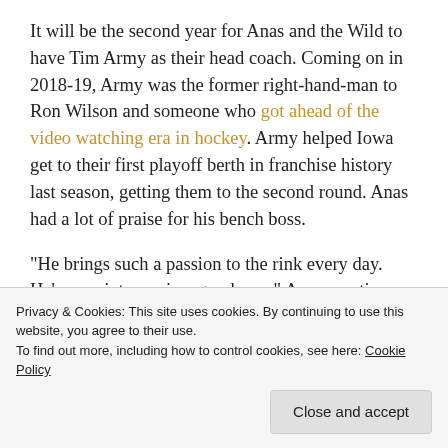It will be the second year for Anas and the Wild to have Tim Army as their head coach. Coming on in 2018-19, Army was the former right-hand-man to Ron Wilson and someone who got ahead of the video watching era in hockey. Army helped Iowa get to their first playoff berth in franchise history last season, getting them to the second round. Anas had a lot of praise for his bench boss.
“He brings such a passion to the rink every day. He’s very intense, in a good way,” Anas mentions about his coach.
last year.
Privacy & Cookies: This site uses cookies. By continuing to use this website, you agree to their use. To find out more, including how to control cookies, see here: Cookie Policy
Close and accept